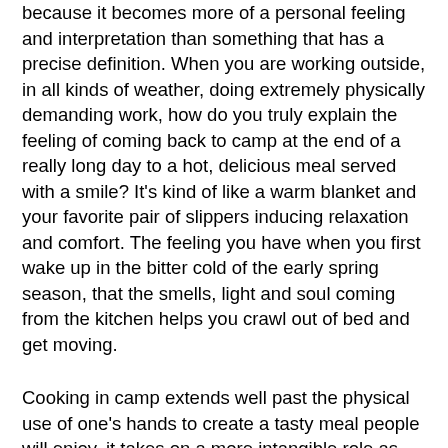because it becomes more of a personal feeling and interpretation than something that has a precise definition. When you are working outside, in all kinds of weather, doing extremely physically demanding work, how do you truly explain the feeling of coming back to camp at the end of a really long day to a hot, delicious meal served with a smile? It's kind of like a warm blanket and your favorite pair of slippers inducing relaxation and comfort. The feeling you have when you first wake up in the bitter cold of the early spring season, that the smells, light and soul coming from the kitchen helps you crawl out of bed and get moving.
Cooking in camp extends well past the physical use of one's hands to create a tasty meal people will enjoy, it takes on a more intangible role as well. The cook becomes the den mother or father to the camp's residents, who frequently come to the cook to talk about their day, to ask for advice, when they are sick and when they are lonely amongst other things. The cook